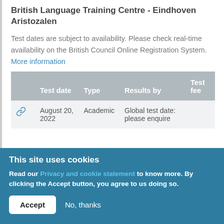British Language Training Centre - Eindhoven Aristozalen
Test dates are subject to availability. Please check real-time availability on the British Council Online Registration System.
More information
|  | Test date | Type | Results by | Test fee |
| --- | --- | --- | --- | --- |
| 🔗 | August 20, 2022 | Academic | Global test date: please enquire |  |
This site uses cookies
Read our Privacy and cookie statement to know more. By clicking the Accept button, you agree to us doing so.